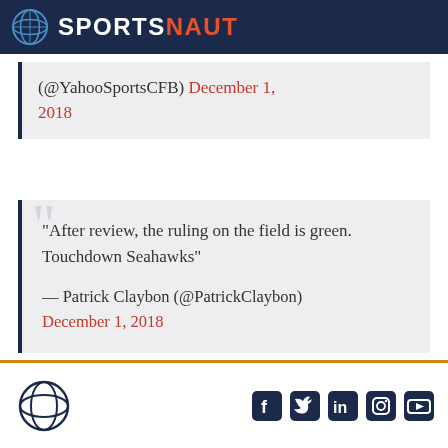SPORTSNAUT
(@YahooSportsCFB) December 1, 2018
"After review, the ruling on the field is green. Touchdown Seahawks"

— Patrick Claybon (@PatrickClaybon) December 1, 2018
Sportsnaut footer with social icons: Facebook, Twitter, LinkedIn, Instagram, YouTube